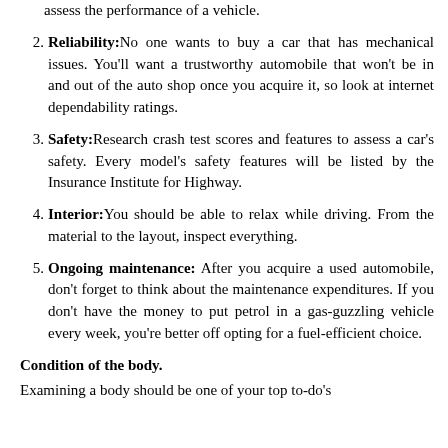assess the performance of a vehicle.
Reliability: No one wants to buy a car that has mechanical issues. You'll want a trustworthy automobile that won't be in and out of the auto shop once you acquire it, so look at internet dependability ratings.
Safety: Research crash test scores and features to assess a car's safety. Every model's safety features will be listed by the Insurance Institute for Highway.
Interior: You should be able to relax while driving. From the material to the layout, inspect everything.
Ongoing maintenance: After you acquire a used automobile, don't forget to think about the maintenance expenditures. If you don't have the money to put petrol in a gas-guzzling vehicle every week, you're better off opting for a fuel-efficient choice.
Condition of the body.
Examining a body should be one of your top to-do's